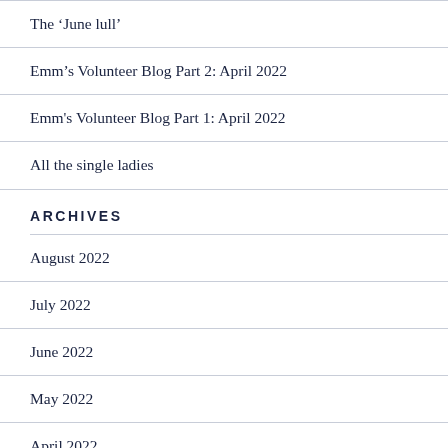The ‘June lull’
Emm’s Volunteer Blog Part 2: April 2022
Emm's Volunteer Blog Part 1: April 2022
All the single ladies
ARCHIVES
August 2022
July 2022
June 2022
May 2022
April 2022